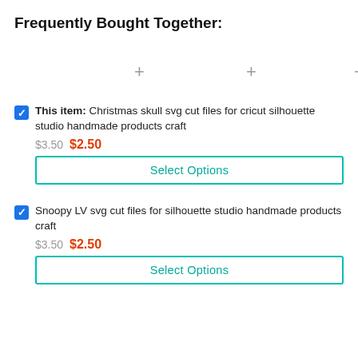Frequently Bought Together:
[Figure (infographic): Three product image placeholders arranged in a row with plus signs between them, representing frequently bought together items.]
This item: Christmas skull svg cut files for cricut silhouette studio handmade products craft — $3.50 $2.50
Snoopy LV svg cut files for silhouette studio handmade products craft — $3.50 $2.50